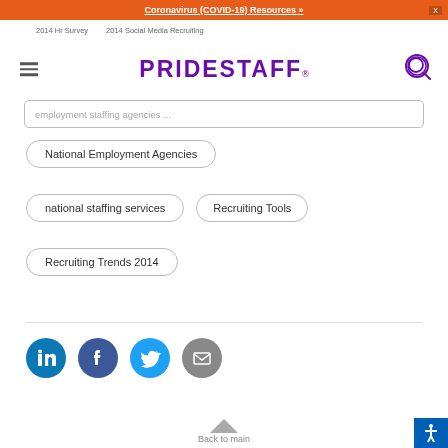Coronavirus (COVID-19) Resources »
2014 Hr Survey · 2014 Social Media Recruiting
[Figure (logo): PrideStaff logo with purple bold text and registered trademark symbol]
employment staffing agencies...
National Employment Agencies
national staffing services
Recruiting Tools
Recruiting Trends 2014
[Figure (illustration): Social media share icons: LinkedIn (teal circle with 'in'), Facebook (dark blue circle with 'f'), Twitter (light blue circle with bird icon), Email (gray circle with envelope icon)]